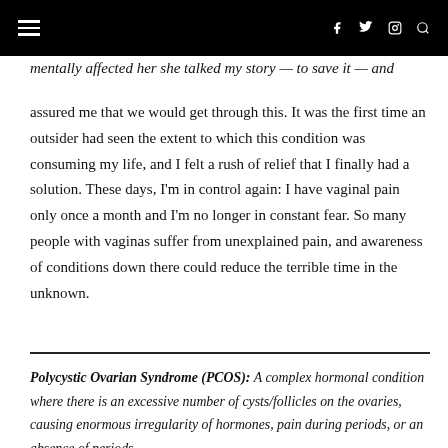Navigation bar with hamburger menu and social icons (Facebook, Twitter, Instagram, Search)
mentally affected her she talked my story — to save it — and assured me that we would get through this. It was the first time an outsider had seen the extent to which this condition was consuming my life, and I felt a rush of relief that I finally had a solution. These days, I'm in control again: I have vaginal pain only once a month and I'm no longer in constant fear. So many people with vaginas suffer from unexplained pain, and awareness of conditions down there could reduce the terrible time in the unknown.
Polycystic Ovarian Syndrome (PCOS): A complex hormonal condition where there is an excessive number of cysts/follicles on the ovaries, causing enormous irregularity of hormones, pain during periods, or an absence of periods.